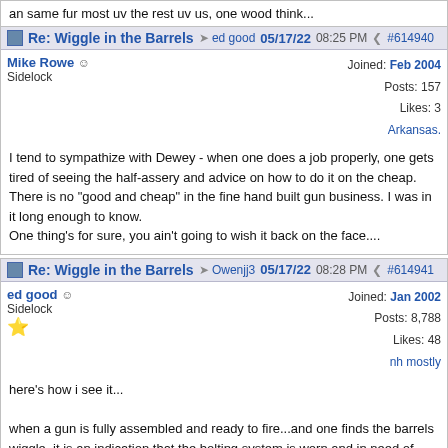an same fur most uv the rest uv us, one wood think...
Re: Wiggle in the Barrels — ed good — 05/17/22 08:25 PM — #614940
Mike Rowe
Sidelock
Joined: Feb 2004
Posts: 157
Likes: 3
Arkansas.
I tend to sympathize with Dewey - when one does a job properly, one gets tired of seeing the half-assery and advice on how to do it on the cheap. There is no "good and cheap" in the fine hand built gun business. I was in it long enough to know.
One thing's for sure, you ain't going to wish it back on the face....
Re: Wiggle in the Barrels — Owenjj3 — 05/17/22 08:28 PM — #614941
ed good
Sidelock
★
Joined: Jan 2002
Posts: 8,788
Likes: 48
nh mostly
here's how i see it...

when a gun is fully assembled and ready to fire...and one finds the barrels wiggle, it is an indication that the bolting system is worn and in need of repair...so long as there is no day light between the face of the action and the breeches of the barrels the gun is not off face...